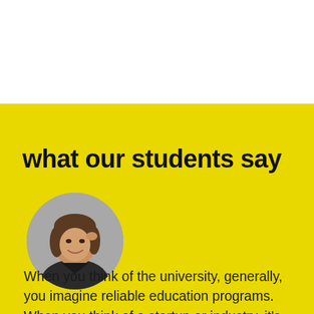what our students say
[Figure (photo): Circular portrait photo of a young woman with short brown hair, smiling, wearing a dark jacket, photographed against a grey background.]
When you think of the university, generally, you imagine reliable education programs. When you think of a startup or industry, it's usually about communication and sharing